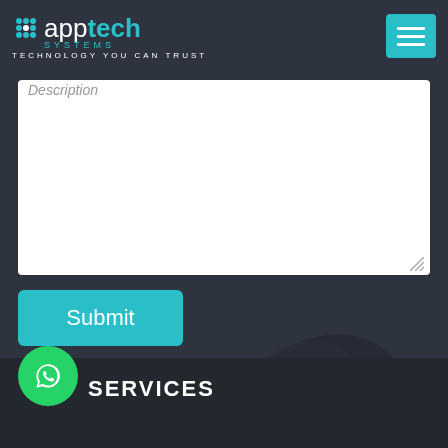[Figure (logo): AppTech Systems logo — grid icon on left, 'app' in white and 'tech' in teal, 'SYSTEMS' in teal spaced letters, tagline 'TECHNOLOGY YOU CAN TRUST' in white]
[Figure (screenshot): Hamburger menu button — teal square with three white horizontal lines]
Description
[Figure (screenshot): White textarea input field for Description, with resize handle at bottom right]
[Figure (screenshot): Teal Submit button]
Micr
[Figure (screenshot): Google reCAPTCHA widget showing the reCAPTCHA logo and Privacy - Terms links]
[Figure (logo): WhatsApp green circle icon]
SERVICES